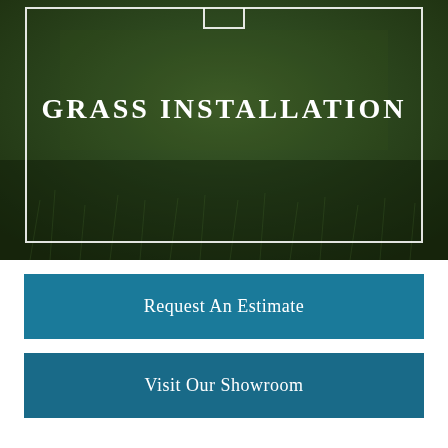[Figure (photo): Aerial close-up photo of lush green grass field with a white bordered rectangular frame overlay and the text GRASS INSTALLATION in large white bold serif letters centered within the frame. A small bracket or notch shape appears at the top center of the frame border.]
Request An Estimate
Visit Our Showroom